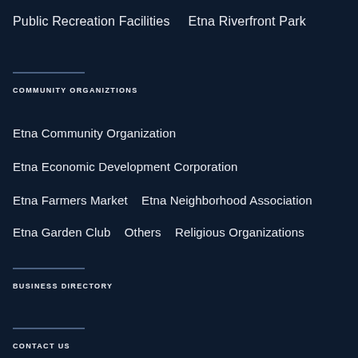Public Recreation Facilities    Etna Riverfront Park
COMMUNITY ORGANIZTIONS
Etna Community Organization
Etna Economic Development Corporation
Etna Farmers Market    Etna Neighborhood Association
Etna Garden Club    Others    Religious Organizations
BUSINESS DIRECTORY
CONTACT US